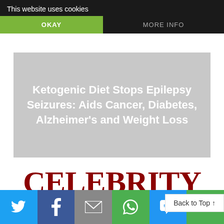This website uses cookies
OKAY
MORE INFO
Ketogenic Diet Stops Epilepsy Seizures: Aids Cancer, Diabetes, Alzheimer’s and Weight Loss
[Figure (logo): Celebrity Health & logo in dark red and black serif font]
Back to Top ↑
[Figure (infographic): Social sharing bar with Twitter, Facebook, Email, WhatsApp, SMS, and More icons]